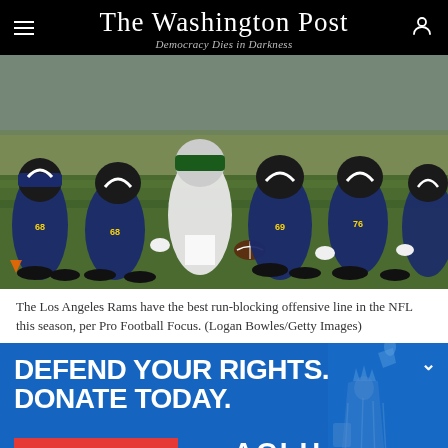The Washington Post — Democracy Dies in Darkness
[Figure (photo): NFL football game photo showing Los Angeles Rams offensive linemen in dark blue and gold uniforms at the line of scrimmage, facing off against players in white uniforms. Players are in a crouched stance before the snap.]
The Los Angeles Rams have the best run-blocking offensive line in the NFL this season, per Pro Football Focus. (Logan Bowles/Getty Images)
[Figure (infographic): ACLU advertisement banner with blue background. Large white bold text reads 'DEFEND YOUR RIGHTS. DONATE TODAY.' A red button says 'MATCH MY GIFT'. The ACLU logo appears in white. A blue-toned Statue of Liberty illustration is on the right side.]